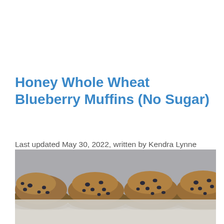Honey Whole Wheat Blueberry Muffins (No Sugar)
Last updated May 30, 2022, written by Kendra Lynne
[Figure (photo): Row of four honey whole wheat blueberry muffins photographed from the front against a grey background, with a reflection visible beneath them.]